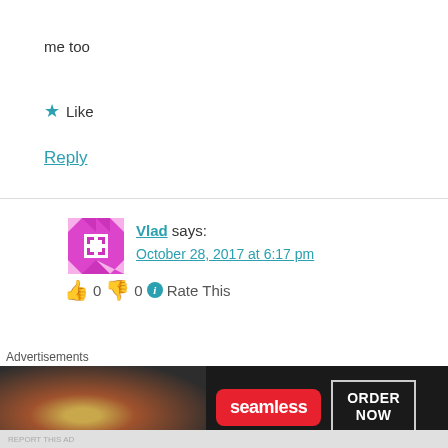me too
★ Like
Reply
Vlad says: October 28, 2017 at 6:17 pm
👍 0 👎 0 ℹ Rate This
[Figure (illustration): Avatar for Vlad — purple/magenta geometric pattern with white diamond shapes on a checkered background]
Advertisements
[Figure (screenshot): Seamless food delivery advertisement banner showing pizza on dark background with red Seamless logo and ORDER NOW button]